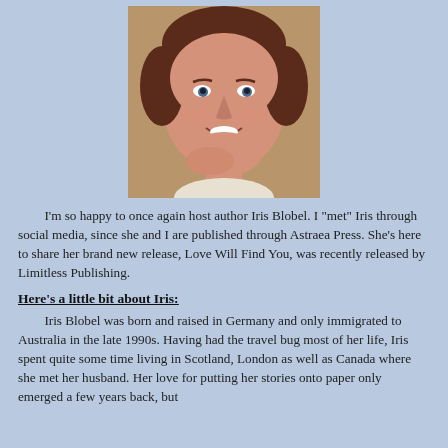[Figure (photo): Headshot photo of author Iris Blobel, a woman with short reddish-brown hair, smiling, resting her chin on her hand, wearing a light-colored top.]
I’m so happy to once again host author Iris Blobel. I “met” Iris through social media, since she and I are published through Astraea Press. She’s here to share her brand new release, Love Will Find You, was recently released by Limitless Publishing.
Here’s a little bit about Iris:
Iris Blobel was born and raised in Germany and only immigrated to Australia in the late 1990s. Having had the travel bug most of her life, Iris spent quite some time living in Scotland, London as well as Canada where she met her husband. Her love for putting her stories onto paper only emerged a few years back, but